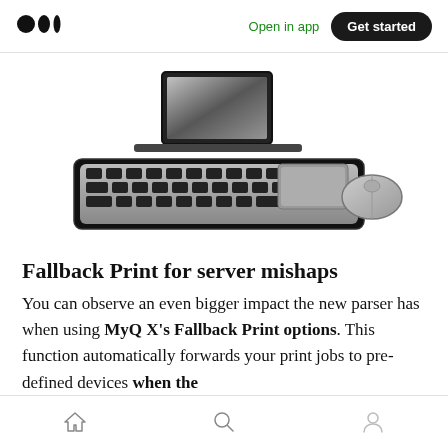Medium logo | Open in app | Get started
[Figure (illustration): Illustration of a laptop computer with keyboard and mouse on white background]
Fallback Print for server mishaps
You can observe an even bigger impact the new parser has when using MyQ X's Fallback Print options. This function automatically forwards your print jobs to pre-defined devices when the
Home | Search | Profile navigation icons